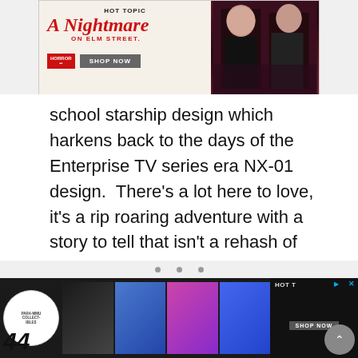[Figure (screenshot): Hot Topic advertisement banner for A Nightmare on Elm Street merchandise with two people wearing dark clothing and a 'Shop Now' button]
school starship design which harkens back to the days of the Enterprise TV series era NX-01 design. There's a lot here to love, it's a rip roaring adventure with a story to tell that isn't a rehash of where other better Trek movies have gone before. Sure the villain doesn't quite work and I have no idea how to explain what they've done to the Enterprise engine room, but Star Trek: Beyond boldly goes.
[Figure (screenshot): Bottom advertisement strip with Hot Topic logo and product images of people in various outfits]